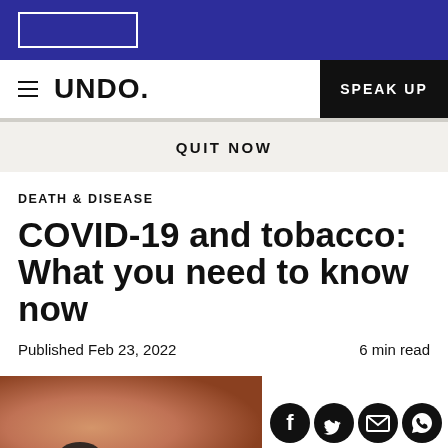[Figure (screenshot): Blue banner with white outlined rectangle/logo box]
UNDO. | SPEAK UP
QUIT NOW
DEATH & DISEASE
COVID-19 and tobacco: What you need to know now
Published Feb 23, 2022    6 min read
[Figure (photo): Close-up photo of a person's face/hand with dark nail polish, partially visible]
[Figure (infographic): Social share icons: Facebook, Twitter, Email, WhatsApp]